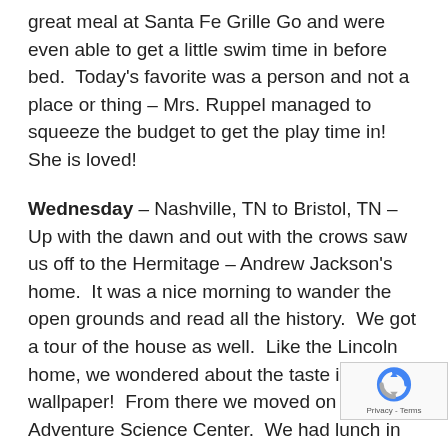great meal at Santa Fe Grille Go and were even able to get a little swim time in before bed.  Today's favorite was a person and not a place or thing – Mrs. Ruppel managed to squeeze the budget to get the play time in!  She is loved!
Wednesday – Nashville, TN to Bristol, TN – Up with the dawn and out with the crows saw us off to the Hermitage – Andrew Jackson's home.  It was a nice morning to wander the open grounds and read all the history.  We got a tour of the house as well.  Like the Lincoln home, we wondered about the taste in wallpaper!  From there we moved on to the Adventure Science Center.  We had lunch in their parking lot, under the shade of the solar panels.  We agreed they make a really nice picnic area!  If you are ever in Nashville and have kids to entertain, ages 1-99, be sure to stop here.  This was so much fun...climbing through a 4 story representation of the body and it's working parts, navigating the flight simulator, watch...